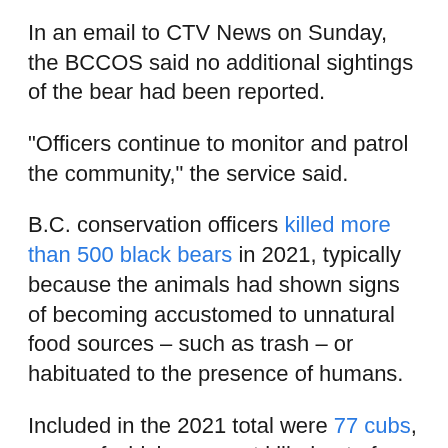In an email to CTV News on Sunday, the BCCOS said no additional sightings of the bear had been reported.
"Officers continue to monitor and patrol the community," the service said.
B.C. conservation officers killed more than 500 black bears in 2021, typically because the animals had shown signs of becoming accustomed to unnatural food sources – such as trash – or habituated to the presence of humans.
Included in the 2021 total were 77 cubs, many of which were not killed out of necessity, according to an animal-rights organization that has filed a complaint against the conservation